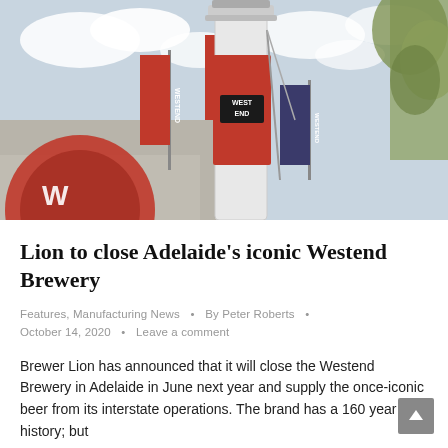[Figure (photo): Exterior photo of the West End Brewery in Adelaide, showing a tall white chimney/tower wrapped in a red banner with 'WEST END' text, red flags flying, industrial building facade, and tree branches visible at upper right. Sky with clouds in background.]
Lion to close Adelaide's iconic Westend Brewery
Features, Manufacturing News  •  By Peter Roberts  •  October 14, 2020  •  Leave a comment
Brewer Lion has announced that it will close the Westend Brewery in Adelaide in June next year and supply the once-iconic beer from its interstate operations. The brand has a 160 year history; but